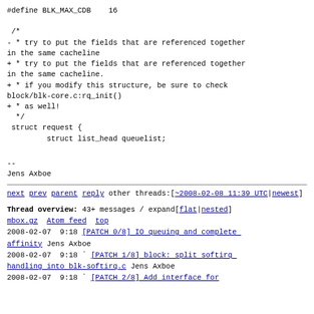#define BLK_MAX_CDB    16

 /*
- * try to put the fields that are referenced together in the same cacheline
+ * try to put the fields that are referenced together in the same cacheline.
+ * if you modify this structure, be sure to check block/blk-core.c:rq_init()
+ * as well!
  */
 struct request {
         struct list_head queuelist;
--
Jens Axboe
next prev parent reply  other threads:[~2008-02-08 11:39 UTC|newest]

Thread overview: 43+ messages / expand[flat|nested]
mbox.gz  Atom feed  top
2008-02-07  9:18 [PATCH 0/8] IO queuing and complete affinity Jens Axboe
2008-02-07  9:18 ` [PATCH 1/8] block: split softirq handling into blk-softirq.c Jens Axboe
2008-02-07  9:18 ` [PATCH 2/8] Add interface for